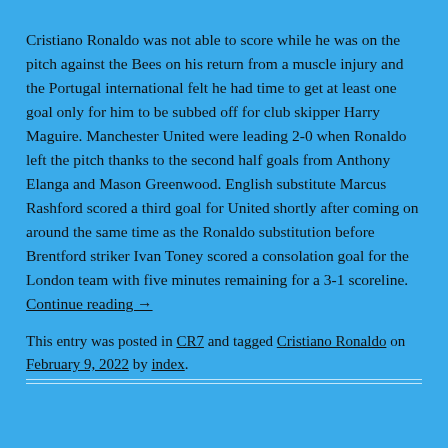Cristiano Ronaldo was not able to score while he was on the pitch against the Bees on his return from a muscle injury and the Portugal international felt he had time to get at least one goal only for him to be subbed off for club skipper Harry Maguire. Manchester United were leading 2-0 when Ronaldo left the pitch thanks to the second half goals from Anthony Elanga and Mason Greenwood. English substitute Marcus Rashford scored a third goal for United shortly after coming on around the same time as the Ronaldo substitution before Brentford striker Ivan Toney scored a consolation goal for the London team with five minutes remaining for a 3-1 scoreline. Continue reading →
This entry was posted in CR7 and tagged Cristiano Ronaldo on February 9, 2022 by index.